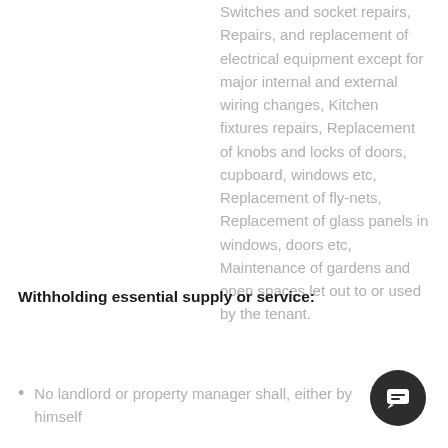Switches and socket repairs, Repairs, and replacement of electrical equipment except for major internal and external wiring changes, Kitchen fixtures repairs, Replacement of knobs and locks of doors, cupboard, windows etc, Replacement of fly-nets, Replacement of glass panels in windows, doors etc, Maintenance of gardens and open spaces let out to or used by the tenant.
Withholding essential supply or service:
No landlord or property manager shall, either by himself